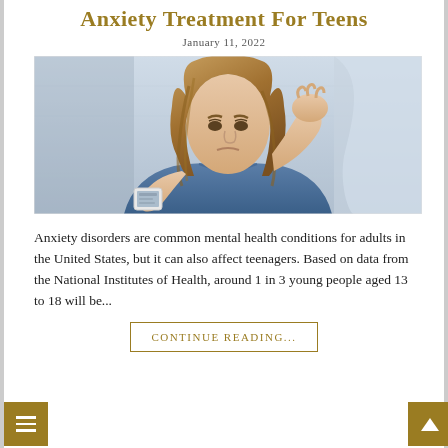Anxiety Treatment For Teens
January 11, 2022
[Figure (photo): A teenage girl with long wavy hair, wearing a denim shirt, holding a phone and resting her hand on her head in a stressed or anxious posture. Background is light/blurred indoor setting.]
Anxiety disorders are common mental health conditions for adults in the United States, but it can also affect teenagers. Based on data from the National Institutes of Health, around 1 in 3 young people aged 13 to 18 will be...
CONTINUE READING...